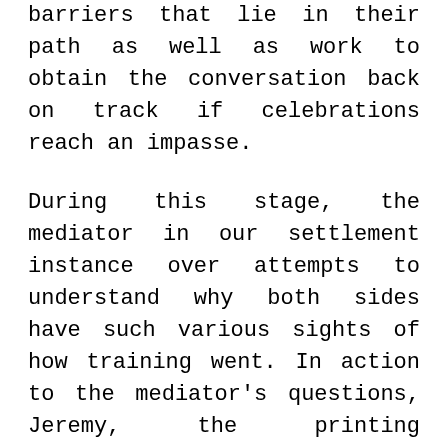barriers that lie in their path as well as work to obtain the conversation back on track if celebrations reach an impasse.
During this stage, the mediator in our settlement instance over attempts to understand why both sides have such various sights of how training went. In action to the mediator’s questions, Jeremy, the printing company’s rep, confesses that business spirits has been low as a result of current layoffs.
“ That’s no excuse for not paying your costs,” you state.
“ In truth, it’s even more reason that you